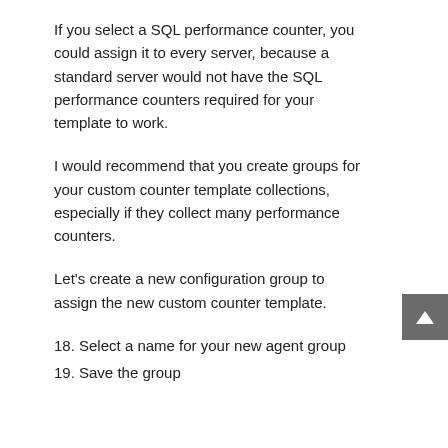If you select a SQL performance counter, you could assign it to every server, because a standard server would not have the SQL performance counters required for your template to work.
I would recommend that you create groups for your custom counter template collections, especially if they collect many performance counters.
Let's create a new configuration group to assign the new custom counter template.
18. Select a name for your new agent group
19. Save the group